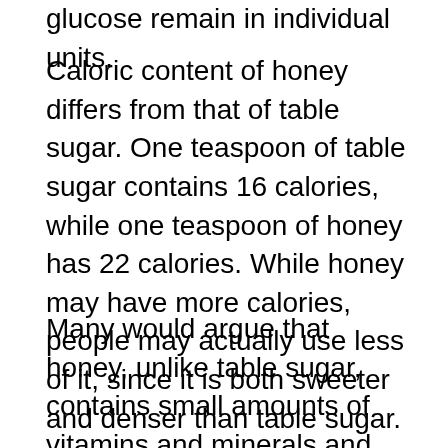glucose remain in individual units.
Caloric content of honey differs from that of table sugar. One teaspoon of table sugar contains 16 calories, while one teaspoon of honey has 22 calories. While honey may have more calories, people may actually use less of it, since it is both sweeter and denser than table sugar.
Many would argue that honey, unlike table sugar, contains small amounts of vitamins and minerals and that honey can aid in digestion. Researchers are also looking into antioxidant levels